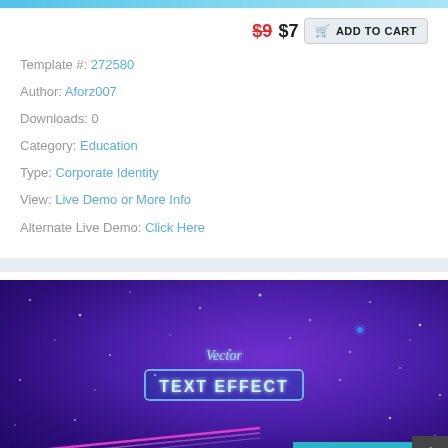Template #: 272580
Author: Aforz007
Downloads: 0
Category: Education
Type: Corporate Identity
View: Live Demo or More Info
Alternate Live Demo: Click Here
[Figure (screenshot): Purple neon-themed preview image with 'Vector TEXT EFFECT' text in glowing cyan on a dark purple background with pink neon lines at the bottom. Live Chat button visible in bottom right.]